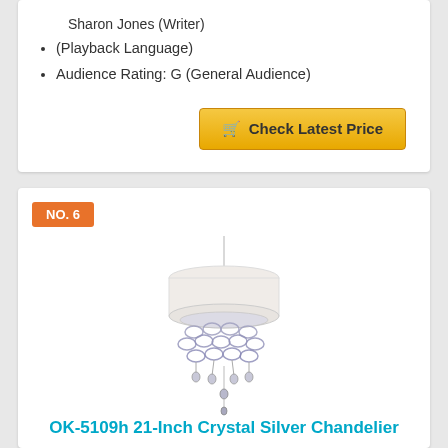Sharon Jones (Writer)
(Playback Language)
Audience Rating: G (General Audience)
Check Latest Price
NO. 6
[Figure (photo): OK-5109h 21-Inch Crystal Silver Chandelier with white drum shade and hanging crystal droplets]
OK-5109h 21-Inch Crystal Silver Chandelier